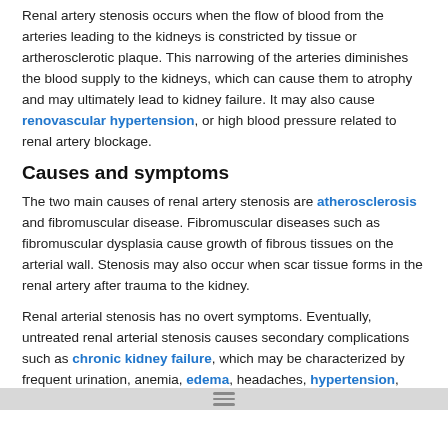Renal artery stenosis occurs when the flow of blood from the arteries leading to the kidneys is constricted by tissue or artherosclerotic plaque. This narrowing of the arteries diminishes the blood supply to the kidneys, which can cause them to atrophy and may ultimately lead to kidney failure. It may also cause renovascular hypertension, or high blood pressure related to renal artery blockage.
Causes and symptoms
The two main causes of renal artery stenosis are atherosclerosis and fibromuscular disease. Fibromuscular diseases such as fibromuscular dysplasia cause growth of fibrous tissues on the arterial wall. Stenosis may also occur when scar tissue forms in the renal artery after trauma to the kidney.
Renal arterial stenosis has no overt symptoms. Eventually, untreated renal arterial stenosis causes secondary complications such as chronic kidney failure, which may be characterized by frequent urination, anemia, edema, headaches, hypertension, lower back pain, and other signs and symptoms.
Diagnosis